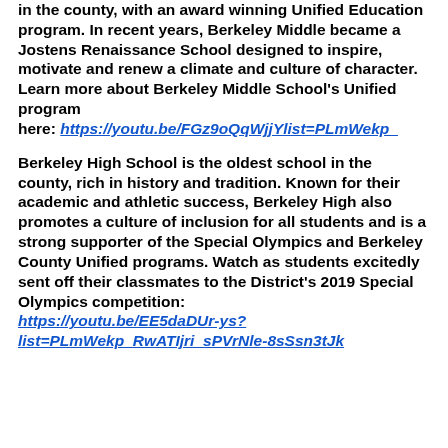in the county, with an award winning Unified Education program. In recent years, Berkeley Middle became a Jostens Renaissance School designed to inspire, motivate and renew a climate and culture of character. Learn more about Berkeley Middle School's Unified program here: https://youtu.be/FGz9oQqWjjYlist=PLmWekp_
Berkeley High School is the oldest school in the county, rich in history and tradition. Known for their academic and athletic success, Berkeley High also promotes a culture of inclusion for all students and is a strong supporter of the Special Olympics and Berkeley County Unified programs. Watch as students excitedly sent off their classmates to the District's 2019 Special Olympics competition: https://youtu.be/EE5daDUr-ys?list=PLmWekp_RwATIjri_sPVrNle-8sSsn3tJk